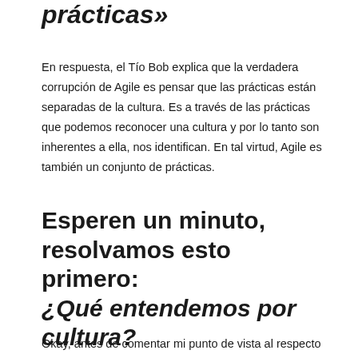prácticas»
En respuesta, el Tío Bob explica que la verdadera corrupción de Agile es pensar que las prácticas están separadas de la cultura. Es a través de las prácticas que podemos reconocer una cultura y por lo tanto son inherentes a ella, nos identifican. En tal virtud, Agile es también un conjunto de prácticas.
Esperen un minuto, resolvamos esto primero: ¿Qué entendemos por cultura?
Okay, antes de comentar mi punto de vista al respecto